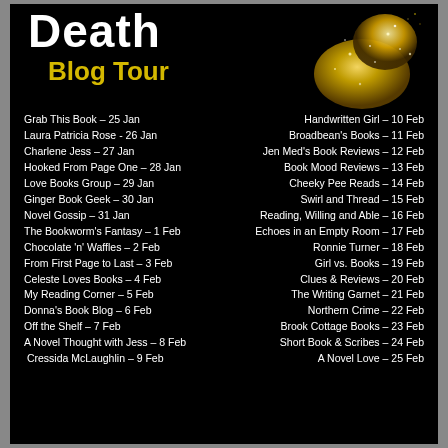Death Blog Tour
[Figure (photo): Gold glittery book/object on black background, top right corner]
Grab This Book – 25 Jan
Laura Patricia Rose - 26 Jan
Charlene Jess – 27 Jan
Hooked From Page One – 28 Jan
Love Books Group – 29 Jan
Ginger Book Geek – 30 Jan
Novel Gossip – 31 Jan
The Bookworm's Fantasy – 1 Feb
Chocolate 'n' Waffles – 2 Feb
From First Page to Last – 3 Feb
Celeste Loves Books – 4 Feb
My Reading Corner – 5 Feb
Donna's Book Blog – 6 Feb
Off the Shelf – 7 Feb
A Novel Thought with Jess – 8 Feb
Cressida McLaughlin – 9 Feb
Handwritten Girl – 10 Feb
Broadbean's Books – 11 Feb
Jen Med's Book Reviews – 12 Feb
Book Mood Reviews – 13 Feb
Cheeky Pee Reads – 14 Feb
Swirl and Thread – 15 Feb
Reading, Willing and Able – 16 Feb
Echoes in an Empty Room – 17 Feb
Ronnie Turner – 18 Feb
Girl vs. Books – 19 Feb
Clues & Reviews – 20 Feb
The Writing Garnet – 21 Feb
Northern Crime – 22 Feb
Brook Cottage Books – 23 Feb
Short Book & Scribes – 24 Feb
A Novel Love – 25 Feb